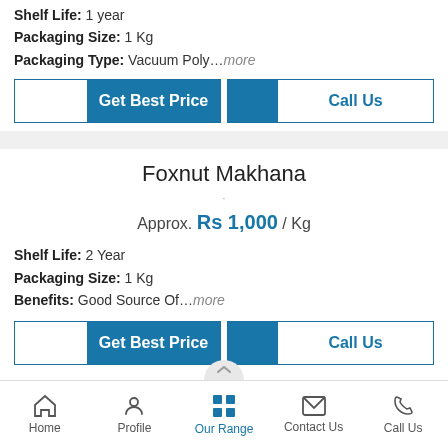Shelf Life: 1 year
Packaging Size: 1 Kg
Packaging Type: Vacuum Poly...more
[Figure (screenshot): Get Best Price and Call Us buttons]
Foxnut Makhana
Approx. Rs 1,000 / Kg
Shelf Life: 2 Year
Packaging Size: 1 Kg
Benefits: Good Source Of...more
[Figure (screenshot): Get Best Price and Call Us buttons]
Home | Profile | Our Range | Contact Us | Call Us